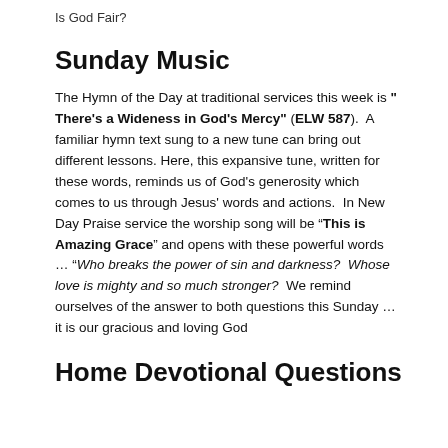Is God Fair?
Sunday Music
The Hymn of the Day at traditional services this week is " There's a Wideness in God's Mercy" (ELW 587).  A familiar hymn text sung to a new tune can bring out different lessons. Here, this expansive tune, written for these words, reminds us of God's generosity which comes to us through Jesus' words and actions.  In New Day Praise service the worship song will be “This is Amazing Grace” and opens with these powerful words … “Who breaks the power of sin and darkness?  Whose love is mighty and so much stronger?  We remind ourselves of the answer to both questions this Sunday … it is our gracious and loving God
Home Devotional Questions